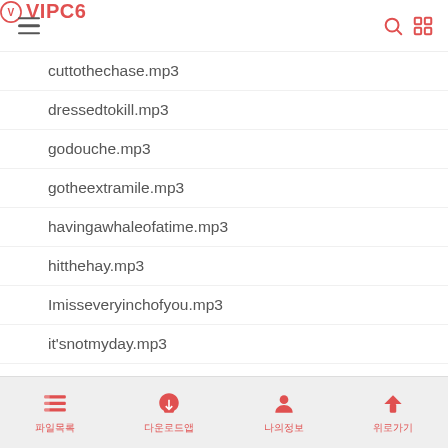VIPC6
cuttothechase.mp3
dressedtokill.mp3
godouche.mp3
gotheextramile.mp3
havingawhaleofatime.mp3
hitthehay.mp3
Imisseveryinchofyou.mp3
it'snotmyday.mp3
manyhandsmakelightwork.mp3
misstheboat.mp3
monkeybusiness.mp3
multitasking.mp3
prettycoolhuh.mp3
파일목록 다운로드앱 나의정보 위로가기